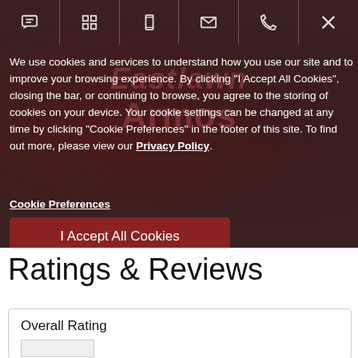[Figure (screenshot): Dark reddish overlay with icon bar at top containing chat, grid, phone, mail, phone, and X icons. Background shows watermark text 'Eastlawn Armos'.]
We use cookies and services to understand how you use our site and to improve your browsing experience. By clicking "I Accept All Cookies", closing the bar, or continuing to browse, you agree to the storing of cookies on your device. Your cookie settings can be changed at any time by clicking "Cookie Preferences" in the footer of this site. To find out more, please view our Privacy Policy.
Cookie Preferences
I Accept All Cookies
Ratings & Reviews
Overall Rating